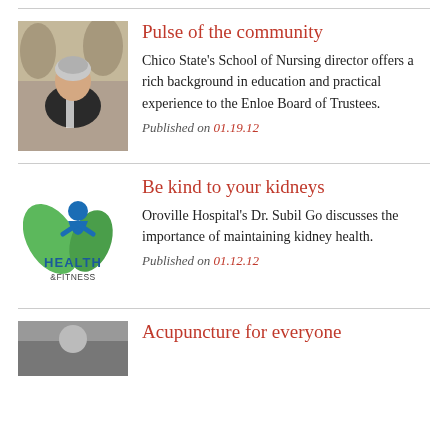Pulse of the community
Chico State's School of Nursing director offers a rich background in education and practical experience to the Enloe Board of Trustees.
Published on 01.19.12
[Figure (photo): Portrait photo of a woman outdoors]
Be kind to your kidneys
Oroville Hospital's Dr. Subil Go discusses the importance of maintaining kidney health.
Published on 01.12.12
[Figure (logo): Health & Fitness logo with blue figure and green leaves]
Acupuncture for everyone